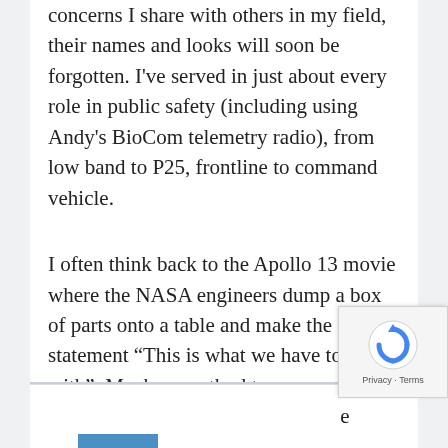concerns I share with others in my field, their names and looks will soon be forgotten. I've served in just about every role in public safety (including using Andy's BioCom telemetry radio), from low band to P25, frontline to command vehicle.
I often think back to the Apollo 13 movie where the NASA engineers dump a box of parts onto a table and make the statement “This is what we have to work with”. Maybe a method to answer the question of ProSe requires the same thinking.
[Figure (other): reCAPTCHA widget with rotating arrows icon and Privacy - Terms text]